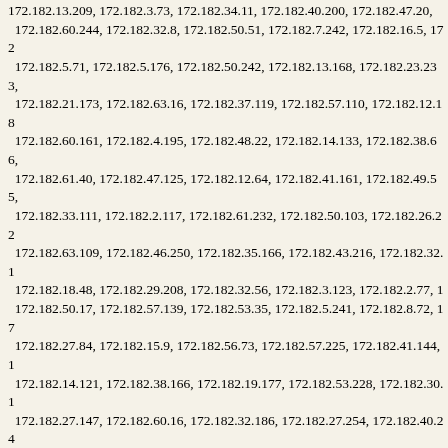172.182.13.209, 172.182.3.73, 172.182.34.11, 172.182.40.200, 172.182.47.20, 172.182.60.244, 172.182.32.8, 172.182.50.51, 172.182.7.242, 172.182.16.5, 172.182.5.71, 172.182.5.176, 172.182.50.242, 172.182.13.168, 172.182.23.233, 172.182.21.173, 172.182.63.16, 172.182.37.119, 172.182.57.110, 172.182.12.18, 172.182.60.161, 172.182.4.195, 172.182.48.22, 172.182.14.133, 172.182.38.66, 172.182.61.40, 172.182.47.125, 172.182.12.64, 172.182.41.161, 172.182.49.55, 172.182.33.111, 172.182.2.117, 172.182.61.232, 172.182.50.103, 172.182.26.22, 172.182.63.109, 172.182.46.250, 172.182.35.166, 172.182.43.216, 172.182.32.1, 172.182.18.48, 172.182.29.208, 172.182.32.56, 172.182.3.123, 172.182.2.77, 172.182.50.17, 172.182.57.139, 172.182.53.35, 172.182.5.241, 172.182.8.72, 172.182.27.84, 172.182.15.9, 172.182.56.73, 172.182.57.225, 172.182.41.144, 172.182.14.121, 172.182.38.166, 172.182.19.177, 172.182.53.228, 172.182.30.1, 172.182.27.147, 172.182.60.16, 172.182.32.186, 172.182.27.254, 172.182.40.24, 172.182.59.251, 172.182.42.128, 172.182.4.3, 172.182.63.217, 172.182.48.237, 172.182.25.92, 172.182.18.147, 172.182.42.144, 172.182.63.62, 172.182.57.240, 172.182.7.245, 172.182.25.95, 172.182.22.175, 172.182.16.4, 172.182.18.184, 172.182.5.189, 172.182.32.126, 172.182.16.201, 172.182.47.226, 172.182.38.65, 172.182.45.155, 172.182.17.43, 172.182.1.118, 172.182.56.200, 172.182.13.124, 172.182.40.186, 172.182.29.27, 172.182.23.250, 172.182.0.235, 172.182.5.149, 172.182.6.171, 172.182.1.202, 172.182.34.29, 172.182.53.188, 172.182.15.50, 172.182.58.22, 172.182.48.54, 172.182.7.153, 172.182.49.173, 172.182.27.49, 172.182.55.212, 172.182.48.76, 172.182.18.159, 172.182.37.39, 172.182.16.177, 172.182.23.148, 172.182.24.107, 172.182.46.202, 172.182.13.175, 172.182.45.3, 172.182.38.201, 172.182.32.179, 172.182.61.223, 172.182.5.81, 172.182.7.69, 172.182.61.138, 172.182.57.54, 172.182.10.92, 172.182.46.65, 172.182.19.140, 172.182.31.175, 172.182.61.29, 172.182.32.184, 172.182.56.12, 172.182.45.157, 172.182.31.142, 172.182.42.89, 172.182.3.194, 172.182.5.120, 172.182.18.2, 172.182.25.125, 172.182.49.244, 172.182.3.6, 172.182.10.155, 172.182.17.222, 172.182.17.32, 172.182.19.92, 172.182.31.183, 172.182.0.204, 172.182.11.170, 172.182.55.114, 172.182.0.94, 172.182.55.58, 172.182.35.200, 172.182.56.35, 172.182.24.102, 172.182.26.160, 172.182.2.68, 172.182.59.164, 172.182.4.13, 172.182.32.41, 172.182.54.13, 172.182.52.247, 172.182.43.49, 172.182.0.215, 172.182.7.182, 172.182.19.215, 172.182.14.219, 172.182.59.92, 172.182.4.2